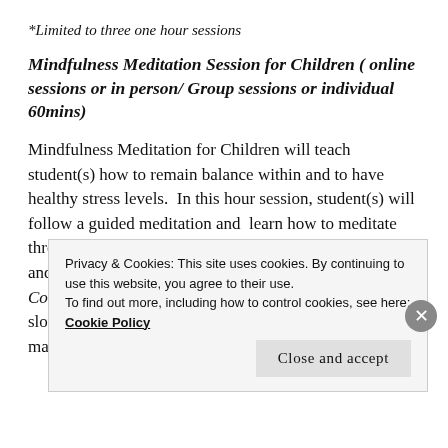*Limited to three one hour sessions
Mindfulness Meditation Session for Children ( online sessions or in person/ Group sessions or individual 60mins)
Mindfulness Meditation for Children will teach student(s) how to remain balance within and to have healthy stress levels.  In this hour session, student(s) will follow a guided meditation and  learn how to meditate through Controlled Breathing, Visualization Art/Singing and Affirmation Literacy.
Controlled Breathing– Children will learn how to take slow deep breaths and learn how to body scan by managing
Privacy & Cookies: This site uses cookies. By continuing to use this website, you agree to their use.
To find out more, including how to control cookies, see here: Cookie Policy
Close and accept